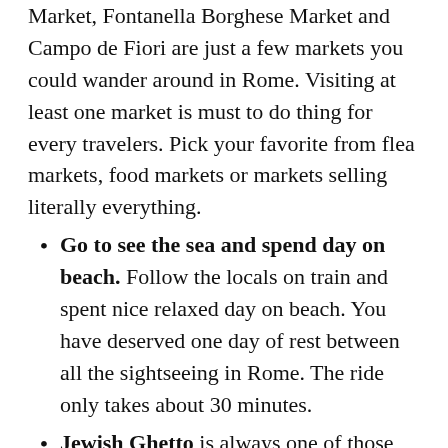Market, Fontanella Borghese Market and Campo de Fiori are just a few markets you could wander around in Rome. Visiting at least one market is must to do thing for every travelers. Pick your favorite from flea markets, food markets or markets selling literally everything.
Go to see the sea and spend day on beach. Follow the locals on train and spent nice relaxed day on beach. You have deserved one day of rest between all the sightseeing in Rome. The ride only takes about 30 minutes.
Jewish Ghetto is always one of those places you should check out in bigger European cities. It has its own atmosphere and style when compared to the rest of the city. Rome's Jewish quarter has many attractions for travelers from Tiber Island to synagogues and from small cafes to bohemian